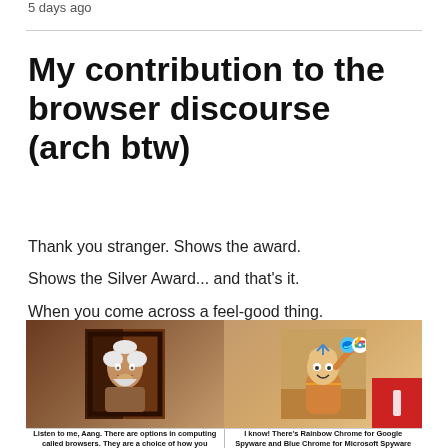5 days ago
My contribution to the browser discourse (arch btw)
Thank you stranger. Shows the award.
Shows the Silver Award... and that's it.
When you come across a feel-good thing.
[Figure (illustration): A two-panel meme from Avatar: The Last Airbender. Left panel shows an old man character. Right panel shows Aang with Microsoft Edge and Google Chrome logos on his fingers. Caption left: 'Listen to me, Aang. There are options in computing called browsers. They are a choice of how you'. Caption right: 'I know! There's Rainbow Chrome for Google Spyware and Blue Chrome for Microsoft Spyware']